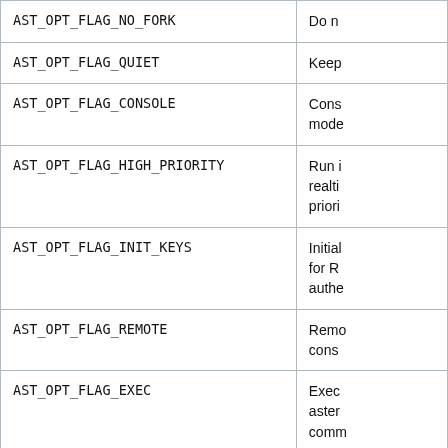| Flag | Description |
| --- | --- |
| AST_OPT_FLAG_NO_FORK | Do n… |
| AST_OPT_FLAG_QUIET | Keep… |
| AST_OPT_FLAG_CONSOLE | Cons… mode… |
| AST_OPT_FLAG_HIGH_PRIORITY | Run i… realti… priori… |
| AST_OPT_FLAG_INIT_KEYS | Initial… for R… authe… |
| AST_OPT_FLAG_REMOTE | Remo… cons… |
| AST_OPT_FLAG_EXEC | Exec… aster… comm… upon… |
| AST_OPT_FLAG_NO_COLOR | Don't… termo… |